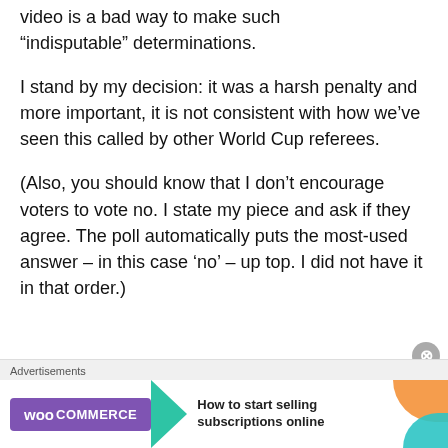video is a bad way to make such “indisputable” determinations.
I stand by my decision: it was a harsh penalty and more important, it is not consistent with how we’ve seen this called by other World Cup referees.
(Also, you should know that I don’t encourage voters to vote no. I state my piece and ask if they agree. The poll automatically puts the most-used answer – in this case ‘no’ – up top. I did not have it in that order.)
Advertisements
[Figure (other): WooCommerce advertisement banner: purple WooCommerce logo with teal arrow, text 'How to start selling subscriptions online', orange and teal decorative shapes]